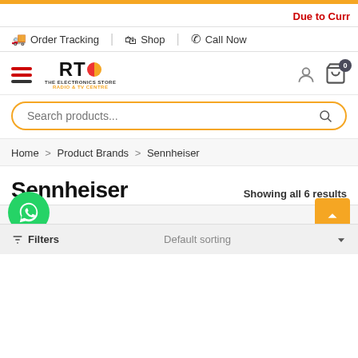Due to Curr
Order Tracking | Shop | Call Now
[Figure (logo): RTC The Electronics Store logo with hamburger menu, user icon, and cart icon showing 0 items]
Search products...
Home > Product Brands > Sennheiser
Sennheiser
Showing all 6 results
Filters   Default sorting